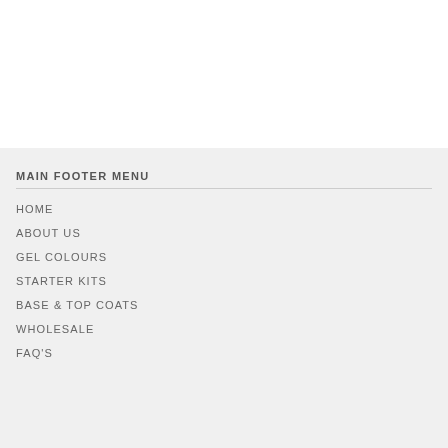MAIN FOOTER MENU
HOME
ABOUT US
GEL COLOURS
STARTER KITS
BASE & TOP COATS
WHOLESALE
FAQ'S